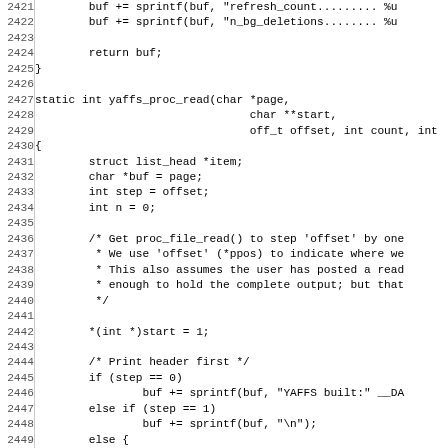[Figure (screenshot): Source code listing of C code for yaffs_proc_read function, with line numbers 2421-2452 visible. The code includes sprintf calls, function definition, variable declarations, comments, and control flow statements.]